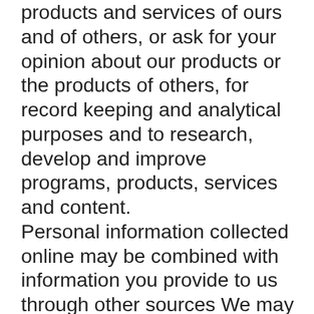products and services of ours and of others, or ask for your opinion about our products or the products of others, for record keeping and analytical purposes and to research, develop and improve programs, products, services and content. Personal information collected online may be combined with information you provide to us through other sources We may also remove your personal identifiers (your name, email address, social security number, etc). In this case, you would no longer be identified as a single unique individual. Once we have de-identified information, it is non-personal information and we may treat it